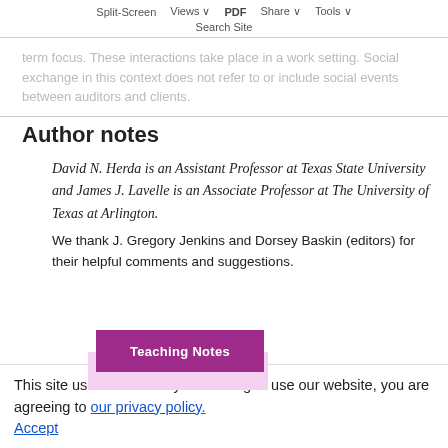Split-Screen  Views  PDF  Share  Tools
Search Site
term focus. These interactions take place in a work setting. Social exchange in this context does not refer to or include social events between auditors and clients.
Author notes
David N. Herda is an Assistant Professor at Texas State University and James J. Lavelle is an Associate Professor at The University of Texas at Arlington.
We thank J. Gregory Jenkins and Dorsey Baskin (editors) for their helpful comments and suggestions.
[Figure (other): Teaching Notes button in purple/magenta color]
This site uses cookies. By continuing to use our website, you are agreeing to our privacy policy.
Accept